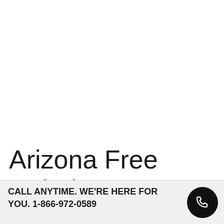Arizona Free Rehab Centers
CALL ANYTIME. WE'RE HERE FOR YOU. 1-866-972-0589
[Figure (illustration): Black circular button with white phone/handset icon]